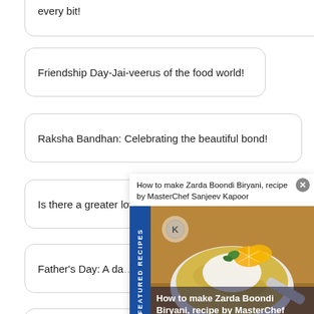every bit!
Friendship Day-Jai-veerus of the food world!
Raksha Bandhan: Celebrating the beautiful bond!
Is there a greater love than the love for chocolates?
Father's Day: A da…
[Figure (screenshot): Featured Recipes popup panel with title 'How to make Zarda Boondi Biryani, recipe by MasterChef Sanjeev Kapoor' and a food photo with overlay text repeating the title, plus a close button]
International Sushi Da…
World Environment Day: Food, environment & beyond